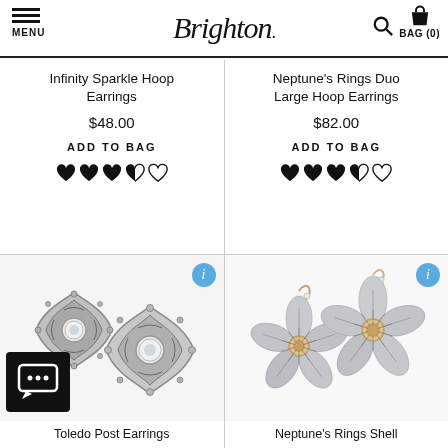MENU | Brighton. | Search | BAG (0)
Infinity Sparkle Hoop Earrings
$48.00
ADD TO BAG
Neptune's Rings Duo Large Hoop Earrings
$82.00
ADD TO BAG
[Figure (photo): Toledo Post Earrings product photo showing silver ornate stud earrings with crystal centers]
Toledo Post Earrings
[Figure (photo): Neptune's Rings Shell earrings product photo showing flower-shaped mother of pearl drop earrings with rose gold accents]
Neptune's Rings Shell